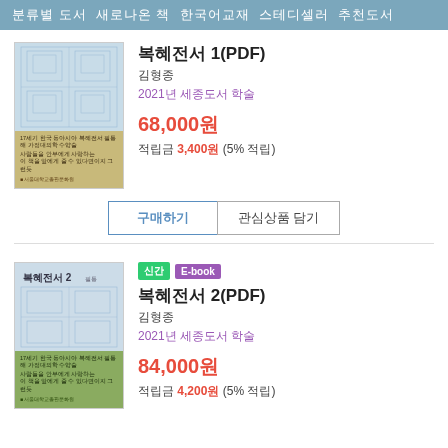분류별 도서  새로나온 책  한국어교재  스테디셀러  추천도서
복혜전서 1(PDF)
김형종
2021년 세종도서 학술
68,000원
적립금 3,400원 (5% 적립)
구매하기  관심상품 담기
복혜전서 2(PDF)
신간  E-book
김형종
2021년 세종도서 학술
84,000원
적립금 4,200원 (5% 적립)